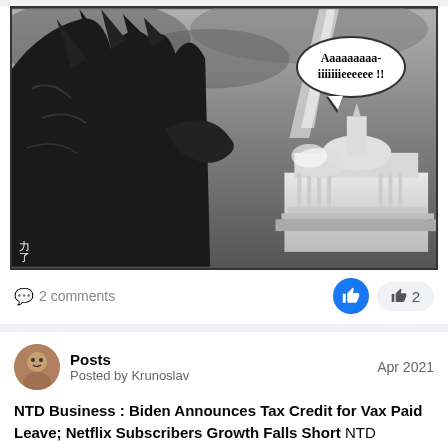[Figure (illustration): Black and white image of Godzilla looming over the US Capitol building, with a speech bubble saying 'Aaaaaaaaa-iiiiiiieeeeee !!']
2 comments
2 likes
Posts
Posted by Krunoslav
Apr 2021
NTD Business : Biden Announces Tax Credit for Vax Paid Leave; Netflix Subscribers Growth Falls Short NTD Business News- 4/21/2021 1. Biden Announces Tax Credit for Vaccine Paid Leave 2.